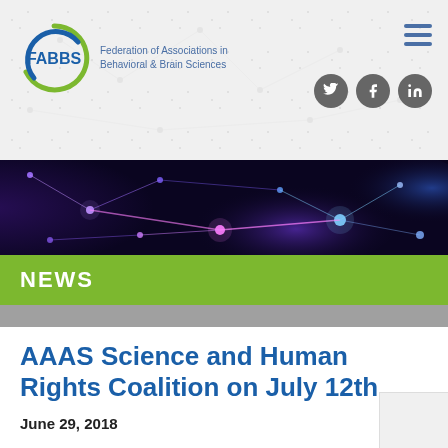[Figure (logo): FABBS logo - circular blue/green design with text 'FABBS' and 'Federation of Associations in Behavioral & Brain Sciences']
[Figure (photo): Dark network/neural connection visualization banner image with blue and purple glowing nodes and connecting lines]
NEWS
AAAS Science and Human Rights Coalition on July 12th
June 29, 2018